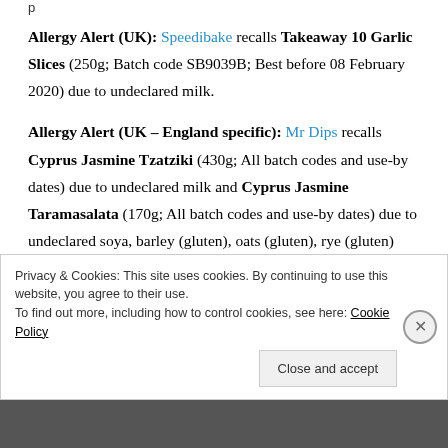Allergy Alert (UK): Speedibake recalls Takeaway 10 Garlic Slices (250g; Batch code SB9039B; Best before 08 February 2020) due to undeclared milk.
Allergy Alert (UK – England specific): Mr Dips recalls Cyprus Jasmine Tzatziki (430g; All batch codes and use-by dates) due to undeclared milk and Cyprus Jasmine Taramasalata (170g; All batch codes and use-by dates) due to undeclared soya, barley (gluten), oats (gluten), rye (gluten) and wheat (gluten).
Privacy & Cookies: This site uses cookies. By continuing to use this website, you agree to their use. To find out more, including how to control cookies, see here: Cookie Policy